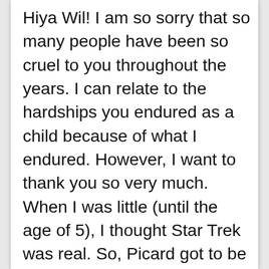Hiya Wil! I am so sorry that so many people have been so cruel to you throughout the years. I can relate to the hardships you endured as a child because of what I endured. However, I want to thank you so very much. When I was little (until the age of 5), I thought Star Trek was real. So, Picard got to be my Father figure...but you were my first human crush. (Raphael from TMNT was my first overall. Lol) Wesley's character was such an inspiration to me until I found out that Star Trek wasn't real and had to figure out how to face my dismal reality. You were still a very bright spot in that timeframe. Thanks for doing Ready Room and being kind after all you have faced. I hope life becomes beyond wonderful for you, because you truly...